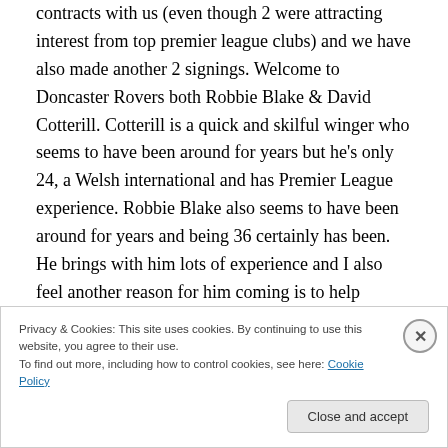contracts with us (even though 2 were attracting interest from top premier league clubs) and we have also made another 2 signings. Welcome to Doncaster Rovers both Robbie Blake & David Cotterill. Cotterill is a quick and skilful winger who seems to have been around for years but he's only 24, a Welsh international and has Premier League experience. Robbie Blake also seems to have been around for years and being 36 certainly has been. He brings with him lots of experience and I also feel another reason for him coming is to help develop the youngsters, after all Jordan Ball has just signed a pro
Privacy & Cookies: This site uses cookies. By continuing to use this website, you agree to their use.
To find out more, including how to control cookies, see here: Cookie Policy